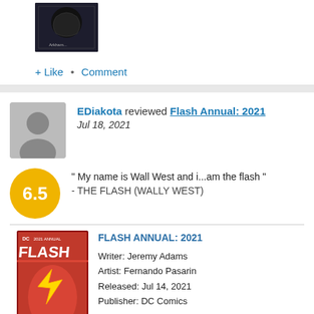[Figure (photo): Comic book cover thumbnail showing a dark Batman/Arkham themed cover]
+ Like • Comment
EDiakota reviewed Flash Annual: 2021
Jul 18, 2021
" My name is Wall West and i...am the flash " - THE FLASH (WALLY WEST)
[Figure (photo): Cover of Flash Annual 2021 comic book featuring The Flash in action]
FLASH ANNUAL: 2021
Writer: Jeremy Adams
Artist: Fernando Pasarin
Released: Jul 14, 2021
Publisher: DC Comics